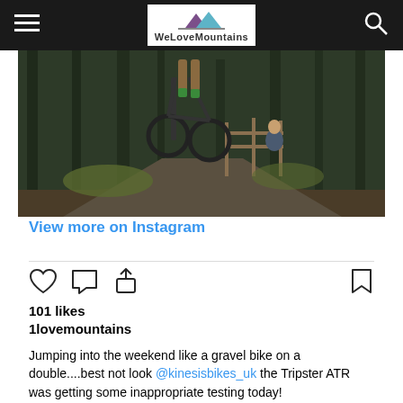WeLoveMountains
[Figure (photo): Mountain biker performing a jump on a dirt trail in a forested area, with a bystander in the background near a wooden fence]
View more on Instagram
101 likes
1lovemountains
Jumping into the weekend like a gravel bike on a double....best not look @kinesisbikes_uk the Tripster ATR was getting some inappropriate testing today!
.
.